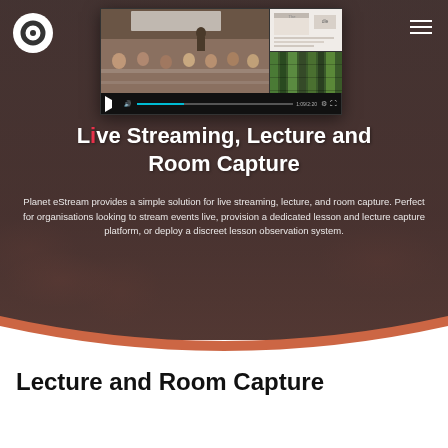[Figure (screenshot): Video player showing a lecture room with students and a split-screen panel on the right showing a presentation slide and green microscope image]
[Figure (logo): Planet eStream circular logo in white on dark background, top left corner]
Live Streaming, Lecture and Room Capture
Planet eStream provides a simple solution for live streaming, lecture, and room capture. Perfect for organisations looking to stream events live, provision a dedicated lesson and lecture capture platform, or deploy a discreet lesson observation system.
Lecture and Room Capture